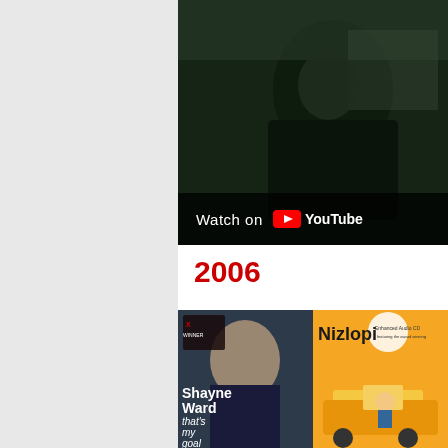[Figure (screenshot): YouTube video thumbnail showing a person in a dark jacket against a dark background, with a 'Watch on YouTube' overlay bar at the bottom]
2006
[Figure (photo): Album covers: left shows Shayne Ward X Factor Winner 'that's my goal', right shows Nizlopi album with yellow cartoon artwork]